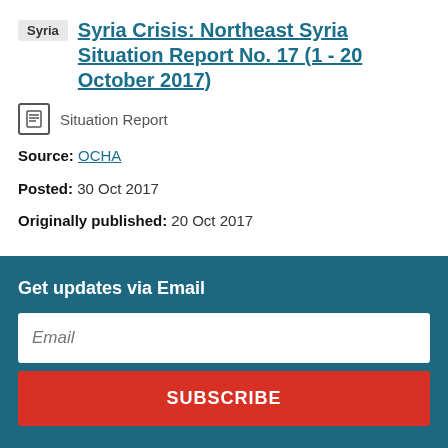Syria Syria Crisis: Northeast Syria Situation Report No. 17 (1 - 20 October 2017)
Situation Report
Source: OCHA
Posted: 30 Oct 2017
Originally published: 20 Oct 2017
Get updates via Email